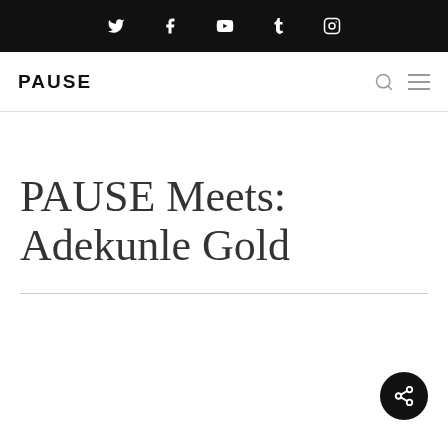Social media icons: Twitter, Facebook, YouTube, Tumblr, Instagram
PAUSE — navigation logo with search and menu icons
PAUSE Meets: Adekunle Gold